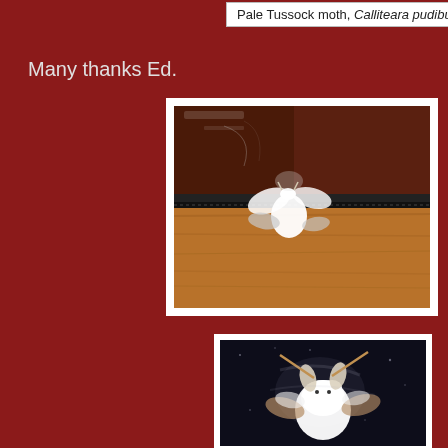Pale Tussock moth, Calliteara pudibunda
Many thanks Ed.
[Figure (photo): Pale Tussock moth (Calliteara pudibunda) resting on a wooden ledge/window frame, viewed from above, white fluffy moth against dark wood and golden oak wood grain]
[Figure (photo): Close-up of Pale Tussock moth (Calliteara pudibunda) viewed from front/below against a dark background, showing white fluffy body and tan antennae]